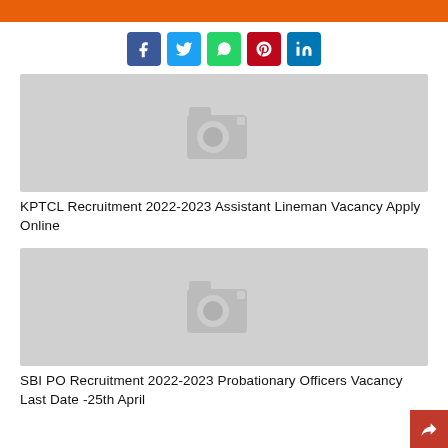[Figure (other): Orange header bar]
[Figure (other): Social media share buttons: Facebook, Twitter, WhatsApp, Pinterest, LinkedIn]
[Figure (photo): Placeholder image with camera icon for KPTCL Recruitment article]
KPTCL Recruitment 2022-2023 Assistant Lineman Vacancy Apply Online
[Figure (photo): Placeholder image with camera icon for SBI PO Recruitment article]
SBI PO Recruitment 2022-2023 Probationary Officers Vacancy Last Date -25th April